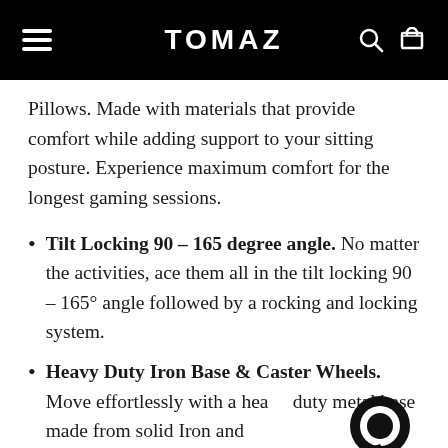TOMAZ
Pillows. Made with materials that provide comfort while adding support to your sitting posture. Experience maximum comfort for the longest gaming sessions.
Tilt Locking 90 – 165 degree angle. No matter the activities, ace them all in the tilt locking 90 – 165° angle followed by a rocking and locking system.
Heavy Duty Iron Base & Caster Wheels. Move effortlessly with a heavy duty metal base made from solid Iron and